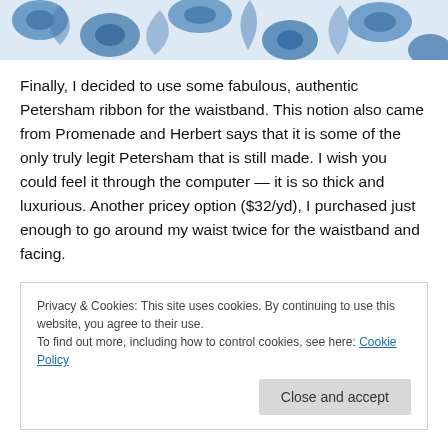[Figure (photo): Partial view of blue and cream floral patterned fabric, likely the skirt being discussed in the blog post.]
Finally, I decided to use some fabulous, authentic Petersham ribbon for the waistband. This notion also came from Promenade and Herbert says that it is some of the only truly legit Petersham that is still made. I wish you could feel it through the computer — it is so thick and luxurious. Another pricey option ($32/yd), I purchased just enough to go around my waist twice for the waistband and facing.
Privacy & Cookies: This site uses cookies. By continuing to use this website, you agree to their use.
To find out more, including how to control cookies, see here: Cookie Policy